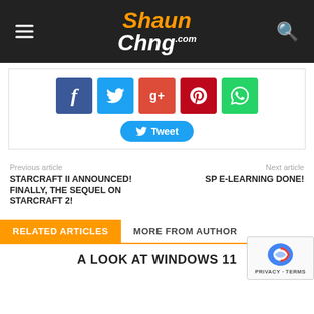ShaunChng.com
[Figure (screenshot): Social share buttons: Facebook, Twitter, Google+, Pinterest, WhatsApp icons and a Tweet button]
Previous article
Next article
STARCRAFT II ANNOUNCED! FINALLY, THE SEQUEL ON STARCRAFT 2!
SP E-LEARNING DONE!
RELATED ARTICLES
MORE FROM AUTHOR
A LOOK AT WINDOWS 11